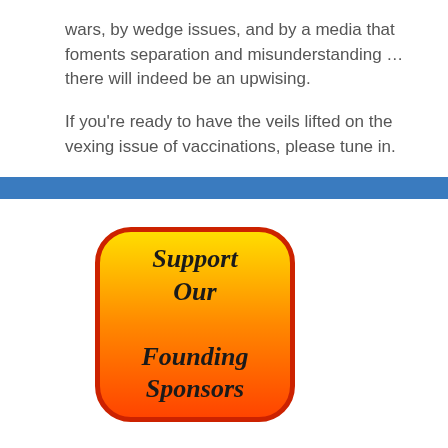wars, by wedge issues, and by a media that foments separation and misunderstanding ... there will indeed be an upwising.

If you're ready to have the veils lifted on the vexing issue of vaccinations, please tune in.
[Figure (illustration): Orange-yellow gradient rounded rectangle button with red border and bold italic text reading 'Support Our Founding Sponsors']